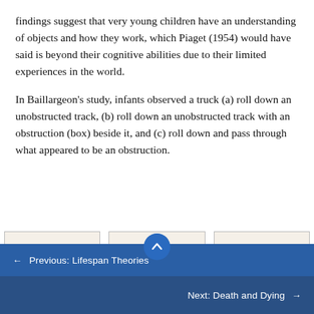findings suggest that very young children have an understanding of objects and how they work, which Piaget (1954) would have said is beyond their cognitive abilities due to their limited experiences in the world.
In Baillargeon's study, infants observed a truck (a) roll down an unobstructed track, (b) roll down an unobstructed track with an obstruction (box) beside it, and (c) roll down and pass through what appeared to be an obstruction.
[Figure (illustration): Three side-by-side illustrations showing Baillargeon's truck experiment: (a) a truck rolling down an unobstructed ramp, (b) a truck rolling down a ramp with a box beside the track, (c) a truck rolling down a ramp toward a box obstruction on the track. Middle image has a scroll-up button overlaid.]
← Previous: Lifespan Theories
Next: Death and Dying →